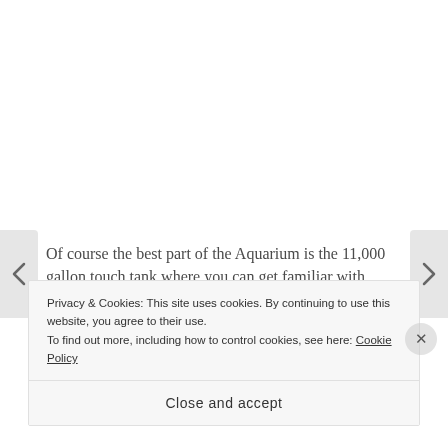Of course the best part of the Aquarium is the 11,000 gallon touch tank where you can get familiar with everything from sea urchins to cow nose sting rays. Matilda and Pauline's kids had a great time practicing
Privacy & Cookies: This site uses cookies. By continuing to use this website, you agree to their use.
To find out more, including how to control cookies, see here: Cookie Policy
Close and accept